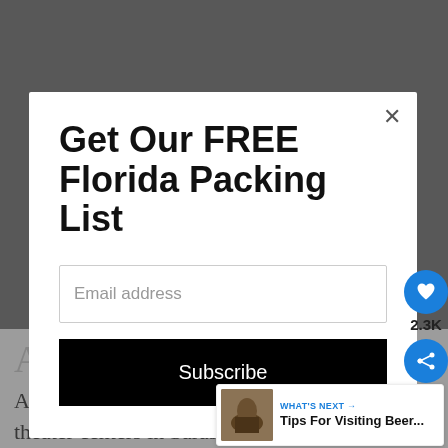[Figure (screenshot): Background page showing Asolo Repertory Theatre article dimmed behind a modal popup overlay]
Get Our FREE Florida Packing List
Email address
Subscribe
2.3K
Asolo Repertory Theatre
Asolo Repertory Theatre is unlike theater centers in Sarasota. It is not a
WHAT'S NEXT → Tips For Visiting Beer...